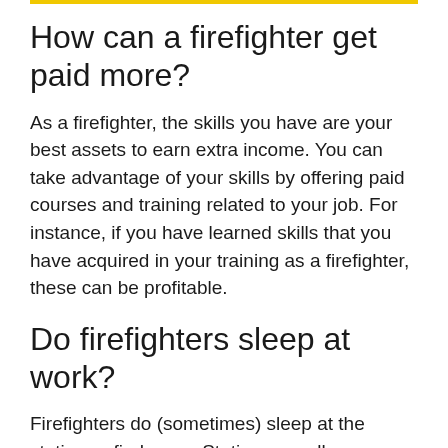How can a firefighter get paid more?
As a firefighter, the skills you have are your best assets to earn extra income. You can take advantage of your skills by offering paid courses and training related to your job. For instance, if you have learned skills that you have acquired in your training as a firefighter, these can be profitable.
Do firefighters sleep at work?
Firefighters do (sometimes) sleep at the station or firehouse. Stations usually are equipped with sleeping quarters, but